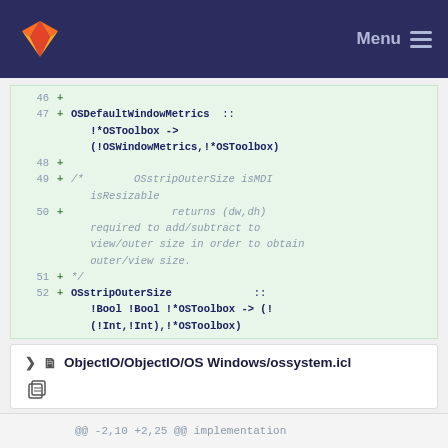GitLab navigation bar with logo and Menu
[Figure (screenshot): Code diff view showing lines 46-52 with additions in green background. Line 47: OSDefaultWindowMetrics :: !*OSToolbox -> (!OSWindowMetrics,!*OSToolbox). Lines 49-51: comment block for OSstripOuterSize isMDI isResizable returns (dw,dh) required to add/subtract to view/outer size in order to obtain outer/view size. Line 52: OSstripOuterSize :: !Bool !Bool !*OSToolbox -> (! (!Int,!Int),!*OSToolbox)]
ObjectIO/ObjectIO/OS Windows/ossystem.icl
@@ -2,10 +2,25 @@ implementation